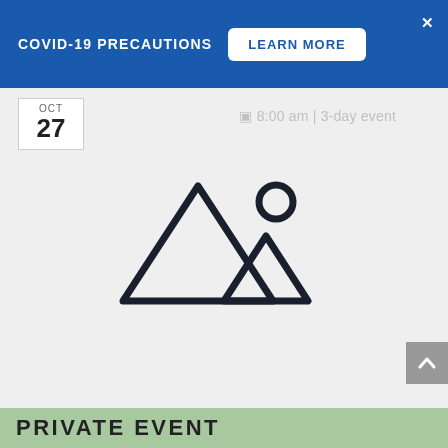COVID-19 PRECAUTIONS   LEARN MORE   ✕
OCT
27
🗓 8:00 am | 3-day event
[Figure (illustration): Image placeholder icon showing two mountain triangles and a sun circle outline — a generic image/photo placeholder icon in dark navy outline style on a light gray background.]
PRIVATE EVENT